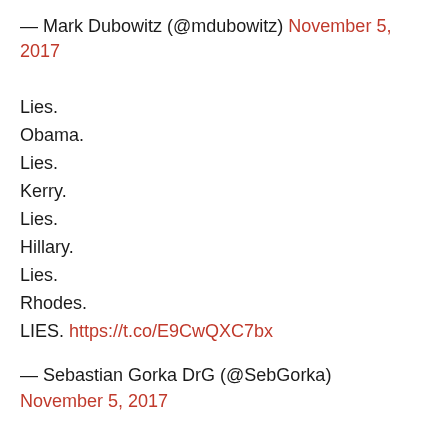— Mark Dubowitz (@mdubowitz) November 5, 2017
Lies.
Obama.
Lies.
Kerry.
Lies.
Hillary.
Lies.
Rhodes.
LIES. https://t.co/E9CwQXC7bx
— Sebastian Gorka DrG (@SebGorka) November 5, 2017
CIA's Osama Bin Laden Files Reveal Collusion of